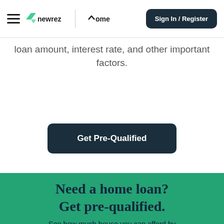newrez | xome — Sign In / Register
loan amount, interest rate, and other important factors.
Get Pre-Qualified
Need a home loan? Get pre-qualified.
See how much house you can afford by